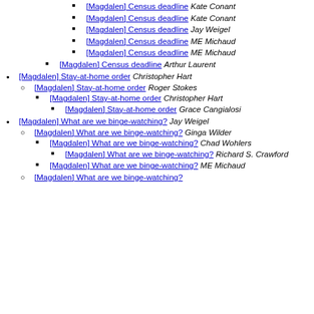[Magdalen] Census deadline  Kate Conant
[Magdalen] Census deadline  Kate Conant
[Magdalen] Census deadline  Jay Weigel
[Magdalen] Census deadline  ME Michaud
[Magdalen] Census deadline  ME Michaud
[Magdalen] Census deadline  Arthur Laurent
[Magdalen] Stay-at-home order  Christopher Hart
[Magdalen] Stay-at-home order  Roger Stokes
[Magdalen] Stay-at-home order  Christopher Hart
[Magdalen] Stay-at-home order  Grace Cangialosi
[Magdalen] What are we binge-watching?  Jay Weigel
[Magdalen] What are we binge-watching?  Ginga Wilder
[Magdalen] What are we binge-watching?  Chad Wohlers
[Magdalen] What are we binge-watching?  Richard S. Crawford
[Magdalen] What are we binge-watching?  ME Michaud
[Magdalen] What are we binge-watching?